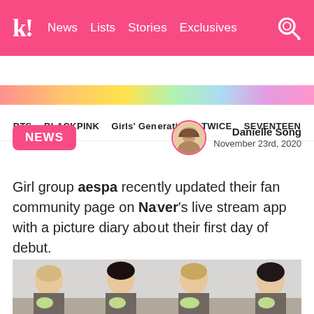k! News  Lists  Stories  Exclusives
BTS  BLACKPINK  Girls' Generation  TWICE  SEVENTEEN
[Figure (photo): Colorful blurred image strip at top of article content area]
NEWS
Danielle Song
November 23rd, 2020
Girl group aespa recently updated their fan community page on Naver's live stream app with a picture diary about their first day of debut.
[Figure (photo): Four young women (aespa members) posing with flowers]